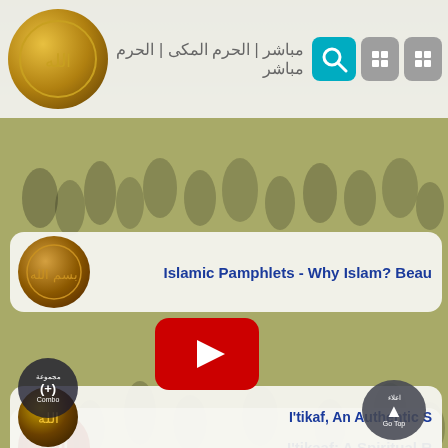[Figure (screenshot): Mobile app screenshot showing Islamic video/content listing with Arabic header text, search icon, and navigation buttons]
مباشر | الحرم المكى | الحرم مباشر
[Figure (screenshot): List item thumbnail - circular Islamic calligraphy image brown/gold tones]
Islamic Pamphlets - Why Islam? Beau
[Figure (screenshot): YouTube play button overlay on crowd background]
[Figure (screenshot): List item thumbnail - circular red Islamic calligraphy 'Allah']
I'tikaaf: A Spiritual R
[Figure (screenshot): Partial list item at bottom - circular gold Islamic calligraphy]
I'tikaf, An Authentic S
مجموعة
(+)
Combo
اعلاء
Go Top